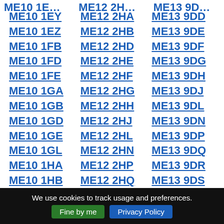ME10 1EY
ME12 2HA
ME13 9DD
ME10 1EZ
ME12 2HB
ME13 9DE
ME10 1FB
ME12 2HD
ME13 9DF
ME10 1FD
ME12 2HE
ME13 9DG
ME10 1FE
ME12 2HF
ME13 9DH
ME10 1GA
ME12 2HG
ME13 9DJ
ME10 1GB
ME12 2HH
ME13 9DL
ME10 1GD
ME12 2HJ
ME13 9DN
ME10 1GE
ME12 2HL
ME13 9DP
ME10 1GL
ME12 2HN
ME13 9DQ
ME10 1HA
ME12 2HP
ME13 9DR
ME10 1HB
ME12 2HQ
ME13 9DS
We use cookies to track usage and preferences. Fine by me  Privacy Policy